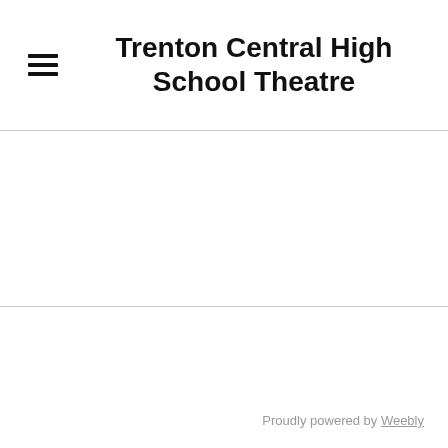Trenton Central High School Theatre
Proudly powered by Weebly